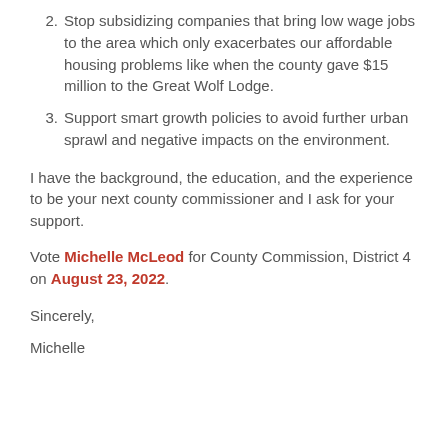2. Stop subsidizing companies that bring low wage jobs to the area which only exacerbates our affordable housing problems like when the county gave $15 million to the Great Wolf Lodge.
3. Support smart growth policies to avoid further urban sprawl and negative impacts on the environment.
I have the background, the education, and the experience to be your next county commissioner and I ask for your support.
Vote Michelle McLeod for County Commission, District 4 on August 23, 2022.
Sincerely,
Michelle